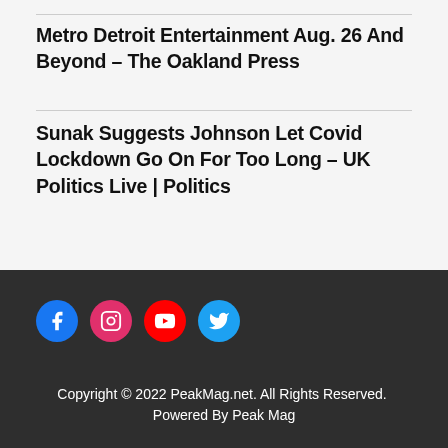Metro Detroit Entertainment Aug. 26 And Beyond – The Oakland Press
Sunak Suggests Johnson Let Covid Lockdown Go On For Too Long – UK Politics Live | Politics
[Figure (infographic): Social media icons row: Facebook (blue circle), Instagram (pink/red circle), YouTube (red circle), Twitter (light blue circle)]
Copyright © 2022 PeakMag.net. All Rights Reserved.  Powered By Peak Mag